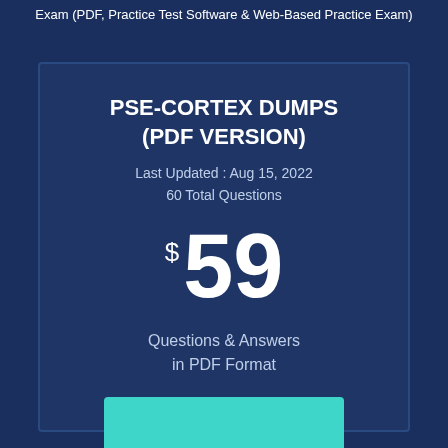Exam (PDF, Practice Test Software & Web-Based Practice Exam)
PSE-CORTEX DUMPS (PDF VERSION)
Last Updated : Aug 15, 2022
60 Total Questions
$59
Questions & Answers in PDF Format